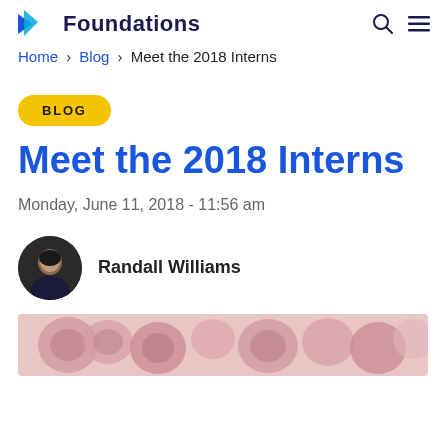Foundations
Home > Blog > Meet the 2018 Interns
BLOG
Meet the 2018 Interns
Monday, June 11, 2018 - 11:56 am
Randall Williams
[Figure (photo): Decorative photo of flowers at the bottom of the page]